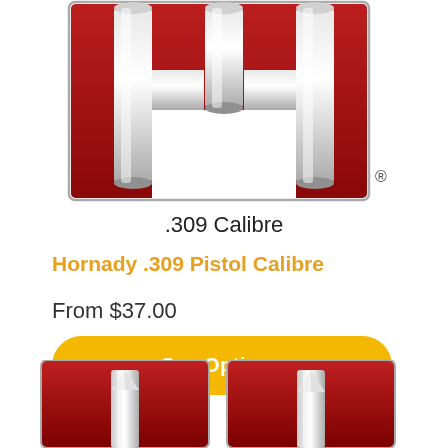[Figure (logo): Hornady brand logo — red letter H shape with silver bullets, registered trademark symbol, on white background]
.309 Calibre
Hornady .309 Pistol Calibre
From $37.00
See Options
[Figure (photo): Partial view of two Hornady product images at the bottom of the page, showing red packaging with silver bullet tips visible]